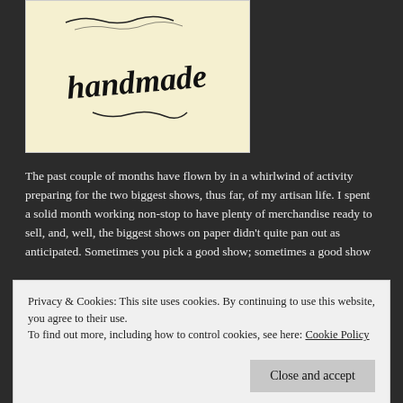[Figure (logo): Handwritten-style logo with the word 'handmade' in cursive black lettering on a pale yellow background]
The past couple of months have flown by in a whirlwind of activity preparing for the two biggest shows, thus far, of my artisan life. I spent a solid month working non-stop to have plenty of merchandise ready to sell, and, well, the biggest shows on paper didn't quite pan out as anticipated. Sometimes you pick a good show, sometimes a good show
Privacy & Cookies: This site uses cookies. By continuing to use this website, you agree to their use.
To find out more, including how to control cookies, see here: Cookie Policy
in Topeka on First Friday weekend of November (see